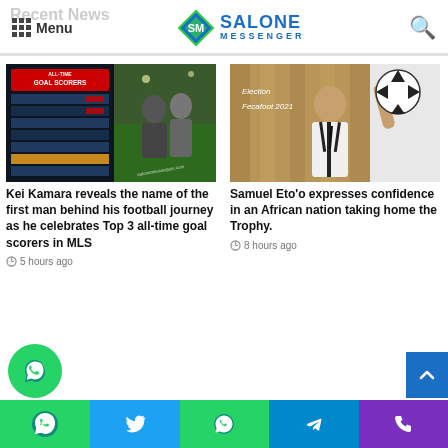Menu | Salone Messenger
Kei Kamara reveals the name of the first man behind his football journey as he celebrates Top 3 all-time goal scorers in MLS
5 hours ago
Samuel Eto'o expresses confidence in an African nation taking home the Trophy.
8 hours ago